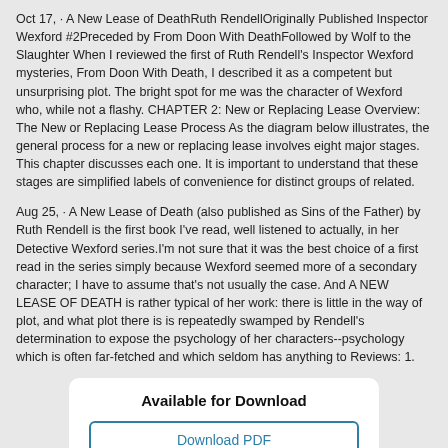Oct 17,  · A New Lease of DeathRuth RendellOriginally Published Inspector Wexford #2Preceded by From Doon With DeathFollowed by Wolf to the Slaughter When I reviewed the first of Ruth Rendell's Inspector Wexford mysteries, From Doon With Death, I described it as a competent but unsurprising plot. The bright spot for me was the character of Wexford who, while not a flashy. CHAPTER 2: New or Replacing Lease Overview: The New or Replacing Lease Process As the diagram below illustrates, the general process for a new or replacing lease involves eight major stages. This chapter discusses each one. It is important to understand that these stages are simplified labels of convenience for distinct groups of related.
Aug 25,  · A New Lease of Death (also published as Sins of the Father) by Ruth Rendell is the first book I've read, well listened to actually, in her Detective Wexford series.I'm not sure that it was the best choice of a first read in the series simply because Wexford seemed more of a secondary character; I have to assume that's not usually the case. And A NEW LEASE OF DEATH is rather typical of her work: there is little in the way of plot, and what plot there is is repeatedly swamped by Rendell's determination to expose the psychology of her characters--psychology which is often far-fetched and which seldom has anything to Reviews: 1.
Available for Download
Download PDF